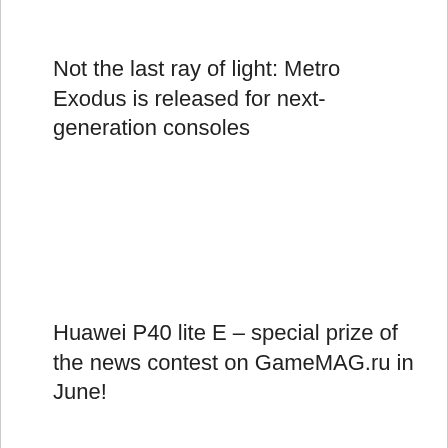Not the last ray of light: Metro Exodus is released for next-generation consoles
Huawei P40 lite E – special prize of the news contest on GameMAG.ru in June!